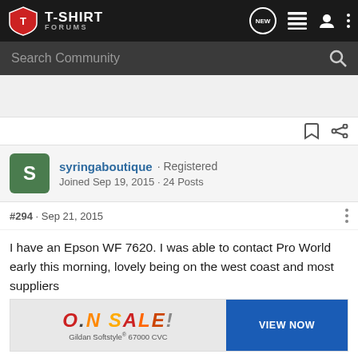T-SHIRT FORUMS
Search Community
syringaboutique · Registered
Joined Sep 19, 2015 · 24 Posts
#294 · Sep 21, 2015
I have an Epson WF 7620. I was able to contact Pro World early this morning, lovely being on the west coast and most suppliers ... ed their trimfree
[Figure (screenshot): Advertisement banner reading ON SALE! with Gildan Softstyle 67000 CVC and a VIEW NOW button]